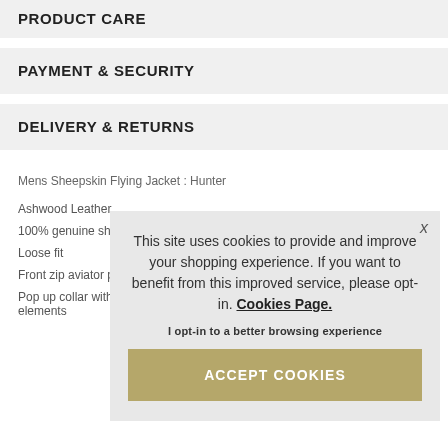PRODUCT CARE
PAYMENT & SECURITY
DELIVERY & RETURNS
Mens Sheepskin Flying Jacket : Hunter
Ashwood Leather
100% genuine sheep
Loose fit
Front zip aviator pilot
Pop up collar with be elements
[Figure (screenshot): Cookie consent overlay with text: 'This site uses cookies to provide and improve your shopping experience. If you want to benefit from this improved service, please opt-in. Cookies Page.' and button 'ACCEPT COOKIES']